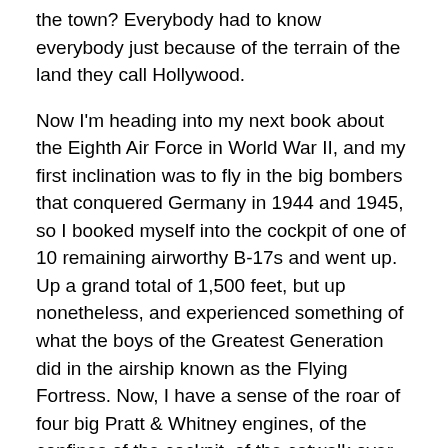the town? Everybody had to know everybody just because of the terrain of the land they call Hollywood.
Now I'm heading into my next book about the Eighth Air Force in World War II, and my first inclination was to fly in the big bombers that conquered Germany in 1944 and 1945, so I booked myself into the cockpit of one of 10 remaining airworthy B-17s and went up. Up a grand total of 1,500 feet, but up nonetheless, and experienced something of what the boys of the Greatest Generation did in the airship known as the Flying Fortress. Now, I have a sense of the roar of four big Pratt & Whitney engines, of the confines of the cockpit, of the catwalk over the bomb bay, of the treacherous footing skittering around the lower turret, of the size of the bombs, and of feel of the waist machine guns. I know what it feels like to crawl into the nose of the plane in flight and where the bomb sight was